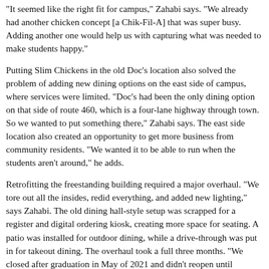"It seemed like the right fit for campus," Zahabi says. "We already had another chicken concept [a Chik-Fil-A] that was super busy. Adding another one would help us with capturing what was needed to make students happy."
Putting Slim Chickens in the old Doc's location also solved the problem of adding new dining options on the east side of campus, where services were limited. "Doc's had been the only dining option on that side of route 460, which is a four-lane highway through town. So we wanted to put something there," Zahabi says. The east side location also created an opportunity to get more business from community residents. "We wanted it to be able to run when the students aren't around," he adds.
Retrofitting the freestanding building required a major overhaul. "We tore out all the insides, redid everything, and added new lighting," says Zahabi. The old dining hall-style setup was scrapped for a register and digital ordering kiosk, creating more space for seating. A patio was installed for outdoor dining, while a drive-through was put in for takeout dining. The overhaul took a full three months. "We closed after graduation in May of 2021 and didn't reopen until September 15 [after the fall semester had started]," Zahabi says.
While the restaurant was being updated, dining services was training to learn the ins and outs of running a Slim Chickens.